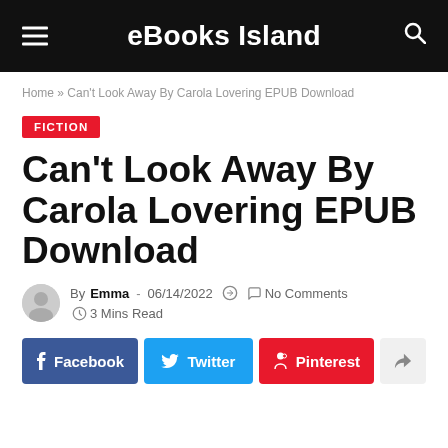eBooks Island
Home » Can't Look Away By Carola Lovering EPUB Download
FICTION
Can't Look Away By Carola Lovering EPUB Download
By Emma - 06/14/2022  No Comments  3 Mins Read
Facebook  Twitter  Pinterest